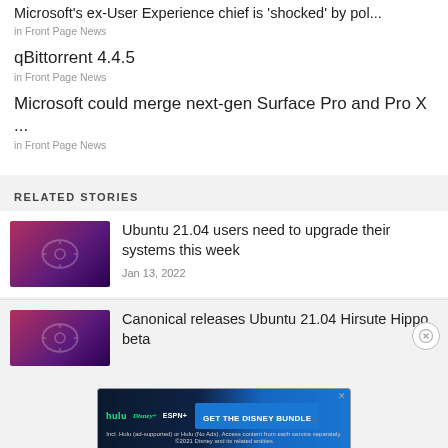Microsoft's ex-User Experience chief is 'shocked' by pol...
in Front Page News
qBittorrent 4.4.5
in Front Page News
Microsoft could merge next-gen Surface Pro and Pro X ...
in Front Page News
RELATED STORIES
[Figure (photo): Ubuntu related thumbnail image with purple/red gradient and Ubuntu logo outline]
Ubuntu 21.04 users need to upgrade their systems this week
Jan 13, 2022
[Figure (photo): Ubuntu related thumbnail image with purple/red gradient and Ubuntu logo outline]
Canonical releases Ubuntu 21.04 Hirsute Hippo beta
[Figure (screenshot): Disney Bundle advertisement banner: Hulu, Disney+, ESPN+ with GET THE DISNEY BUNDLE button]